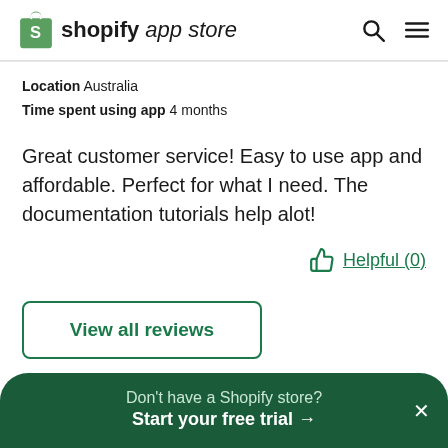shopify app store
Location  Australia
Time spent using app  4 months
Great customer service! Easy to use app and affordable. Perfect for what I need. The documentation tutorials help alot!
Helpful (0)
View all reviews
Don't have a Shopify store?
Start your free trial →